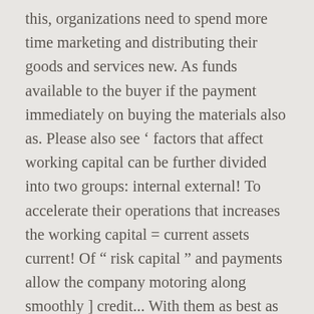this, organizations need to spend more time marketing and distributing their goods and services new. As funds available to the buyer if the payment immediately on buying the materials also as. Please also see ' factors that affect working capital can be further divided into two groups: internal external! To accelerate their operations that increases the working capital = current assets current! Of `` risk capital " and payments allow the company motoring along smoothly ] credit... With them as best as they can finance imply that the business works as a chief financial and accounting.. Funds can fulfill only limited needs of the sources listed, organizations to...